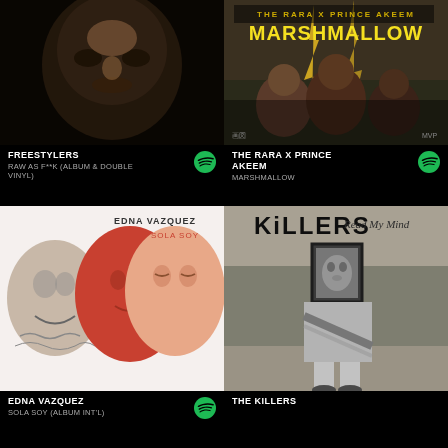[Figure (photo): Album art for Freestylers - Raw As F**k, dark close-up of a face]
FREESTYLERS
RAW AS F**K (ALBUM & DOUBLE VINYL)
[Figure (photo): Album art for The Rara x Prince Akeem - Marshmallow, group of people with text overlay]
THE RARA X PRINCE AKEEM
MARSHMALLOW
[Figure (photo): Album art for Edna Vazquez - Sola Soy, illustrated faces in red and black]
EDNA VAZQUEZ
SOLA SOY (ALBUM INT'L)
[Figure (photo): Album art for The Killers - Read My Mind, black and white photo of woman holding framed photo in front of face]
THE KILLERS